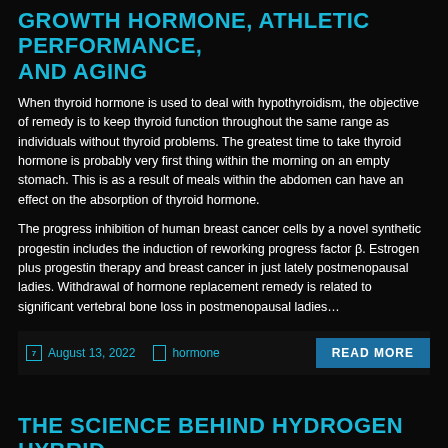GROWTH HORMONE, ATHLETIC PERFORMANCE, AND AGING
When thyroid hormone is used to deal with hypothyroidism, the objective of remedy is to keep thyroid function throughout the same range as individuals without thyroid problems. The greatest time to take thyroid hormone is probably very first thing within the morning on an empty stomach. This is as a result of meals within the abdomen can have an effect on the absorption of thyroid hormone.
The progress inhibition of human breast cancer cells by a novel synthetic progestin includes the induction of reworking progress factor β. Estrogen plus progestin therapy and breast cancer in just lately postmenopausal ladies. Withdrawal of hormone replacement remedy is related to significant vertebral bone loss in postmenopausal ladies...
August 13, 2022   hormone
THE SCIENCE BEHIND HYDROGEN HYBRID VEHICLES